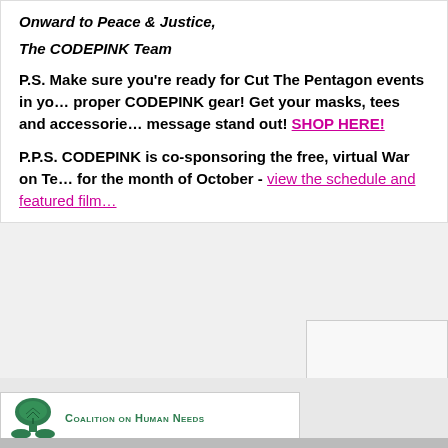Onward to Peace & Justice,
The CODEPINK Team
P.S. Make sure you're ready for Cut The Pentagon events in your area with proper CODEPINK gear! Get your masks, tees and accessories to make your message stand out! SHOP HERE!
P.P.S. CODEPINK is co-sponsoring the free, virtual War on Terror Film Festival for the month of October - view the schedule and featured film
[Figure (logo): Coalition on Human Needs logo with tree emblem and organization name in green small-caps text]